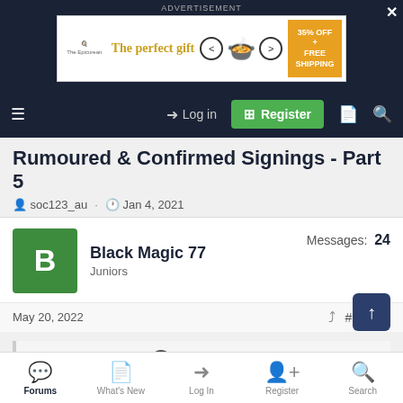[Figure (screenshot): Advertisement banner: 'The perfect gift' with food bowl image, 35% OFF + FREE SHIPPING offer]
ADVERTISEMENT
Rumoured & Confirmed Signings - Part 5
soc123_au · Jan 4, 2021
Black Magic 77
Juniors
Messages: 24
May 20, 2022  #13,621
Black Magic 77 said:
Nah, I used to have this one years ago..
Forums  What's New  Log In  Register  Search